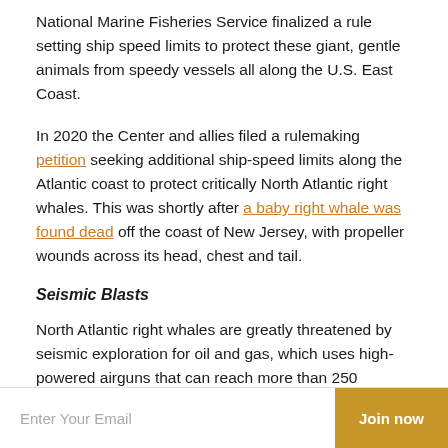National Marine Fisheries Service finalized a rule setting ship speed limits to protect these giant, gentle animals from speedy vessels all along the U.S. East Coast.
In 2020 the Center and allies filed a rulemaking petition seeking additional ship-speed limits along the Atlantic coast to protect critically North Atlantic right whales. This was shortly after a baby right whale was found dead off the coast of New Jersey, with propeller wounds across its head, chest and tail.
Seismic Blasts
North Atlantic right whales are greatly threatened by seismic exploration for oil and gas, which uses high-powered airguns that can reach more than 250 decibels and cause hearing loss in marine mammals, disturb essential behaviors like feeding and breeding over vast distances, mask communications between individual
Enter Your Email | Join now